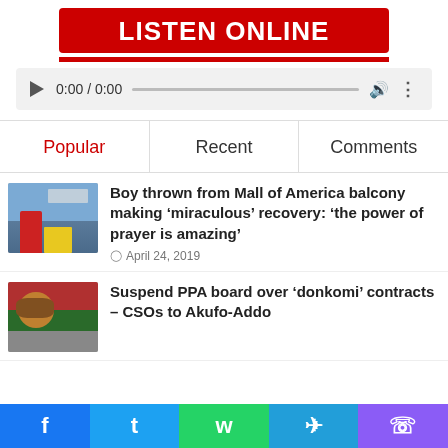[Figure (screenshot): Listen ONLINE banner with red background and white bold text]
[Figure (screenshot): Audio player UI showing 0:00 / 0:00 with play button, progress bar, volume and more icons]
Popular | Recent | Comments
[Figure (photo): Thumbnail of a person in a red shirt in front of Mall of America]
Boy thrown from Mall of America balcony making ‘miraculous’ recovery: ‘the power of prayer is amazing’
April 24, 2019
[Figure (photo): Thumbnail of a person at a public event with a flag in the background]
Suspend PPA board over ‘donkomi’ contracts – CSOs to Akufo-Addo